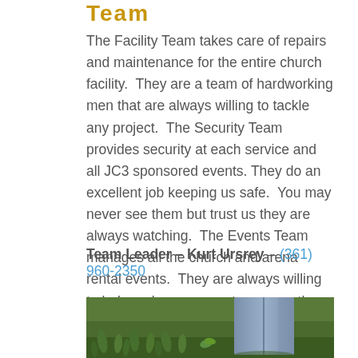Team
The Facility Team takes care of repairs and maintenance for the entire church facility.  They are a team of hardworking men that are always willing to tackle any project.  The Security Team provides security at each service and all JC3 sponsored events. They do an excellent job keeping us safe.  You may never see them but trust us they are always watching.  The Events Team manages all the church and arena rental events.  They are always willing to help make your event run smooth.
Team Leader – Kurt Ursrey – (361) 960-2350
[Figure (photo): Outdoor photo showing grass and a person wearing jeans, partial view from waist down]